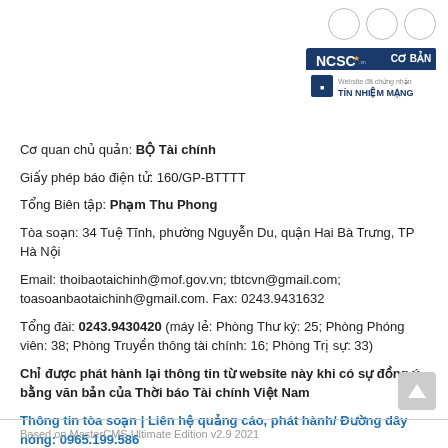[Figure (logo): Three circular social media or share icons in the top right corner]
[Figure (logo): NCSC 'Co Ban' website tin nhiem mang badge in top right]
Cơ quan chủ quản: BỘ Tài chính
Giấy phép báo điện tử: 160/GP-BTTTT
Tổng Biên tập: Phạm Thu Phong
Tòa soạn: 34 Tuệ Tĩnh, phường Nguyễn Du, quận Hai Bà Trưng, TP Hà Nội
Email: thoibaotaichinh@mof.gov.vn; tbtcvn@gmail.com; toasoanbaotaichinh@gmail.com. Fax: 0243.9431632
Tổng đài: 0243.9430420 (máy lẻ: Phòng Thư ký: 25; Phòng Phóng viên: 38; Phòng Truyền thông tài chính: 16; Phòng Trị sự: 33)
Chỉ được phát hành lại thông tin từ website này khi có sự đồng ý bằng văn bản của Thời báo Tài chính Việt Nam
Thông tin tòa soạn | Liên hệ quảng cáo, phát hành/ Đường dây nóng: 0965.199.586
Based on MasterCMS Ultimate Edition v2.9 2021